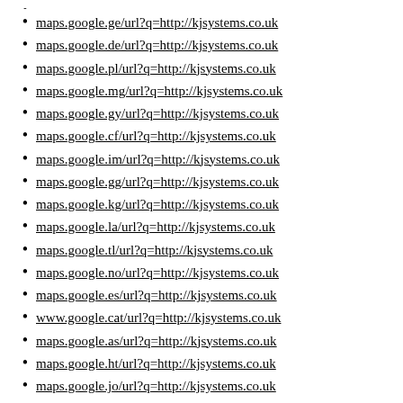maps.google.ge/url?q=http://kjsystems.co.uk
maps.google.de/url?q=http://kjsystems.co.uk
maps.google.pl/url?q=http://kjsystems.co.uk
maps.google.mg/url?q=http://kjsystems.co.uk
maps.google.gy/url?q=http://kjsystems.co.uk
maps.google.cf/url?q=http://kjsystems.co.uk
maps.google.im/url?q=http://kjsystems.co.uk
maps.google.gg/url?q=http://kjsystems.co.uk
maps.google.kg/url?q=http://kjsystems.co.uk
maps.google.la/url?q=http://kjsystems.co.uk
maps.google.tl/url?q=http://kjsystems.co.uk
maps.google.no/url?q=http://kjsystems.co.uk
maps.google.es/url?q=http://kjsystems.co.uk
www.google.cat/url?q=http://kjsystems.co.uk
maps.google.as/url?q=http://kjsystems.co.uk
maps.google.ht/url?q=http://kjsystems.co.uk
maps.google.jo/url?q=http://kjsystems.co.uk
maps.google.dk/url?q=http://kjsystems.co.uk
maps.google.tp/url?q=http://kjsystems.co.uk